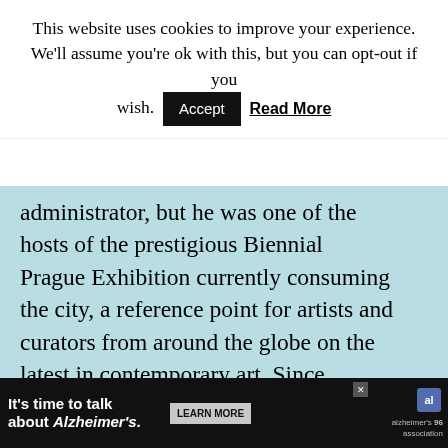This website uses cookies to improve your experience. We'll assume you're ok with this, but you can opt-out if you wish. [Accept] Read More
administrator, but he was one of the hosts of the prestigious Biennial Prague Exhibition currently consuming the city, a reference point for artists and curators from around the globe on the latest in contemporary art. Since several of them didn't believe he really owned a castle, he brought them by for a look.
A young Italian fashionista and curator
It's time to talk about Alzheimer's. LEARN MORE